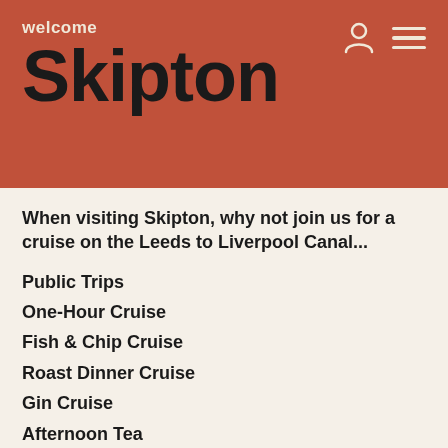welcome Skipton
When visiting Skipton, why not join us for a cruise on the Leeds to Liverpool Canal...
Public Trips
One-Hour Cruise
Fish & Chip Cruise
Roast Dinner Cruise
Gin Cruise
Afternoon Tea
Magical Santa Trips *December only
Self-Drive Day Boats available for groups of ten or less.